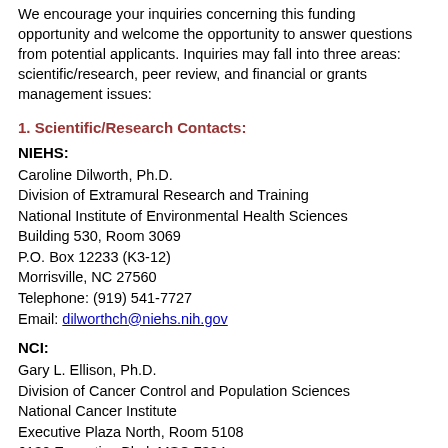We encourage your inquiries concerning this funding opportunity and welcome the opportunity to answer questions from potential applicants. Inquiries may fall into three areas: scientific/research, peer review, and financial or grants management issues:
1. Scientific/Research Contacts:
NIEHS:
Caroline Dilworth, Ph.D.
Division of Extramural Research and Training
National Institute of Environmental Health Sciences
Building 530, Room 3069
P.O. Box 12233 (K3-12)
Morrisville, NC 27560
Telephone: (919) 541-7727
Email: dilworthch@niehs.nih.gov
NCI:
Gary L. Ellison, Ph.D.
Division of Cancer Control and Population Sciences
National Cancer Institute
Executive Plaza North, Room 5108
6130 Executive Blvd, MSC 7324